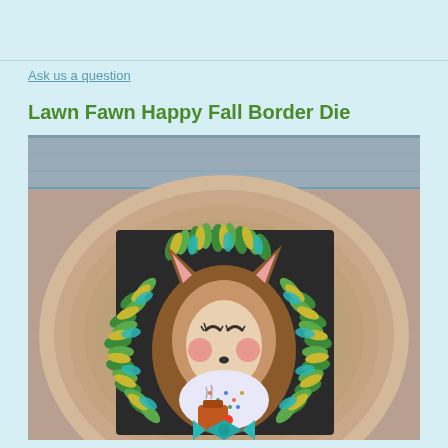Ask us a question
Lawn Fawn Happy Fall Border Die
[Figure (photo): A cute cartoon fox craft die-cut figure surrounded by a green and yellow wreath, displayed on a dark card, placed on a round wood slice background. The fox has pink cheeks, big eyes, wears a patterned shirt and teal bow, and holds a small object.]